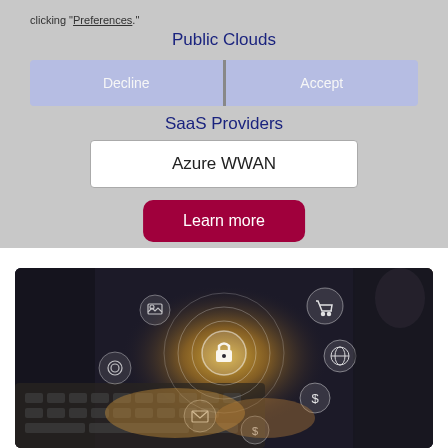clicking "Preferences."
Public Clouds
Decline | Accept
SaaS Providers
Azure WWAN
Learn more
[Figure (photo): Person typing on a laptop with cybersecurity icons overlaid including padlock, shopping cart, globe, email, and other digital security symbols with glowing circular rings]